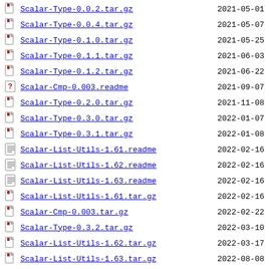Scalar-Type-0.0.2.tar.gz  2021-05-01
Scalar-Type-0.0.4.tar.gz  2021-05-07
Scalar-Type-0.1.0.tar.gz  2021-05-25
Scalar-Type-0.1.1.tar.gz  2021-06-03
Scalar-Type-0.1.2.tar.gz  2021-06-22
Scalar-Cmp-0.003.readme  2021-09-07
Scalar-Type-0.2.0.tar.gz  2021-11-08
Scalar-Type-0.3.0.tar.gz  2022-01-07
Scalar-Type-0.3.1.tar.gz  2022-01-08
Scalar-List-Utils-1.61.readme  2022-02-16
Scalar-List-Utils-1.62.readme  2022-02-16
Scalar-List-Utils-1.63.readme  2022-02-16
Scalar-List-Utils-1.61.tar.gz  2022-02-16
Scalar-Cmp-0.003.tar.gz  2022-02-22
Scalar-Type-0.3.2.tar.gz  2022-03-10
Scalar-List-Utils-1.62.tar.gz  2022-03-17
Scalar-List-Utils-1.63.tar.gz  2022-08-08